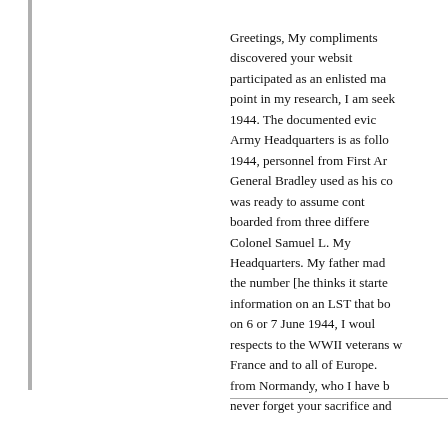Greetings, My compliments discovered your website participated as an enlisted ma point in my research, I am seek 1944. The documented evid Army Headquarters is as follo 1944, personnel from First Ar General Bradley used as his co was ready to assume cont boarded from three differe Colonel Samuel L. My Headquarters. My father mad the number [he thinks it starte information on an LST that bo on 6 or 7 June 1944, I woul respects to the WWII veterans w France and to all of Europe. from Normandy, who I have b never forget your sacrifice and